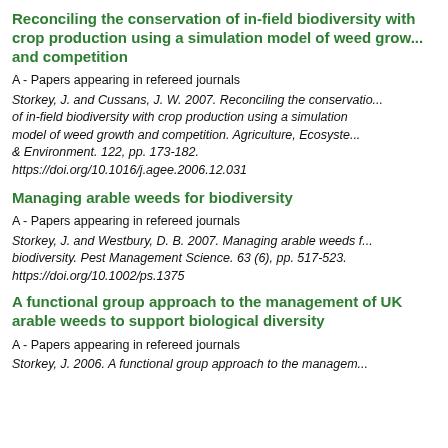Reconciling the conservation of in-field biodiversity with crop production using a simulation model of weed growth and competition
A - Papers appearing in refereed journals
Storkey, J. and Cussans, J. W. 2007. Reconciling the conservation of in-field biodiversity with crop production using a simulation model of weed growth and competition. Agriculture, Ecosystems & Environment. 122, pp. 173-182. https://doi.org/10.1016/j.agee.2006.12.031
Managing arable weeds for biodiversity
A - Papers appearing in refereed journals
Storkey, J. and Westbury, D. B. 2007. Managing arable weeds for biodiversity. Pest Management Science. 63 (6), pp. 517-523. https://doi.org/10.1002/ps.1375
A functional group approach to the management of UK arable weeds to support biological diversity
A - Papers appearing in refereed journals
Storkey, J. 2006. A functional group approach to the management